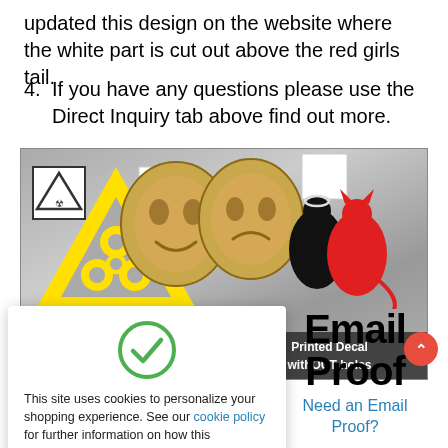updated this design on the website where the white part is cut out above the red girls tail.
4. If you have any questions please use the Direct Inquiry tab above find out more.
[Figure (photo): Banner image showing various decal types including yellow biohazard triangle, theater comedy/drama masks in gold, devil/angel girl silhouettes in black and red, with labels for 'Printed Decal withOUT holes' and cut-out decal options.]
[Figure (screenshot): Cookie consent popup overlay with green checkmark, text about cookies and a link to cookie policy, and an orange 'Got It!' button.]
Email Proof
Need an Email Proof?